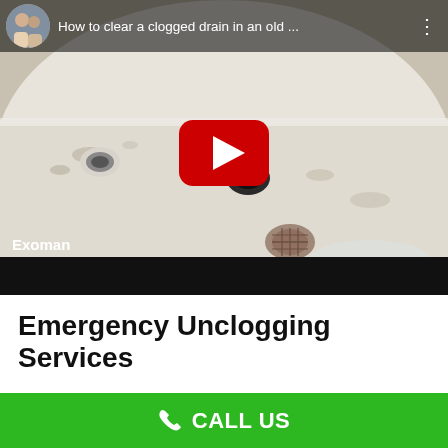[Figure (screenshot): YouTube video thumbnail showing a clogged bathtub drain. The video title reads 'How to clear a clogged drain in an old ...' with the channel name 'Exoman'. A red YouTube play button is centered on the image. The bottom bar is dark/black.]
Emergency Unclogging Services
Whether you need to unclogged toilet, a backed-up drain cleared,
[Figure (infographic): Green call-to-action bar at the bottom with a phone icon and the text 'CALL US' in white bold letters.]